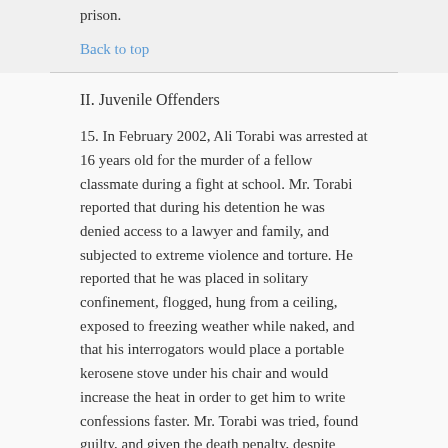prison.
Back to top
II. Juvenile Offenders
15. In February 2002, Ali Torabi was arrested at 16 years old for the murder of a fellow classmate during a fight at school. Mr. Torabi reported that during his detention he was denied access to a lawyer and family, and subjected to extreme violence and torture. He reported that he was placed in solitary confinement, flogged, hung from a ceiling, exposed to freezing weather while naked, and that his interrogators would place a portable kerosene stove under his chair and would increase the heat in order to get him to write confessions faster. Mr. Torabi was tried, found guilty, and given the death penalty, despite being a minor at the time of arrest. He was then transferred to a general ward of Rajai Shahr Prison, where he claimed his abuse continued, including beatings and being shocked with electric batons. He was eventually released on bail after being imprisoned for over seven years. He has since left Iran; his final judicial ruling is Qisas for the crime of murder, for